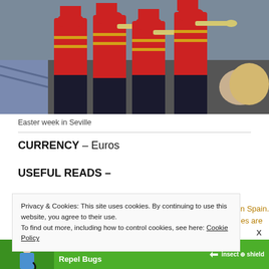[Figure (photo): Photo of a marching band in red and black uniforms playing trumpets at Easter week in Seville, surrounded by crowd]
Easter week in Seville
CURRENCY – Euros
USEFUL READS –
Privacy & Cookies: This site uses cookies. By continuing to use this website, you agree to their use.
To find out more, including how to control cookies, see here: Cookie Policy
our in Spain. eraries are in
[Figure (photo): Advertisement banner: Clothes That Repel Bugs - insect shield, showing a woman in blue top]